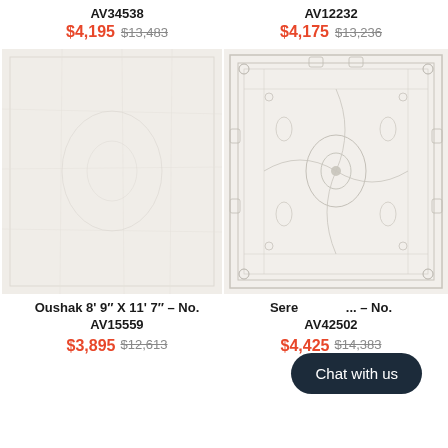AV34538
$4,195  $13,483
AV12232
$4,175  $13,236
[Figure (photo): Light cream/white rug with subtle pattern, left product image]
[Figure (photo): White rug with ornate floral border pattern, right product image]
Oushak 8' 9" X 11' 7" – No. AV15559
$3,895  $12,613
Sere... – No. AV42502
$4,425  $14,383
Chat with us